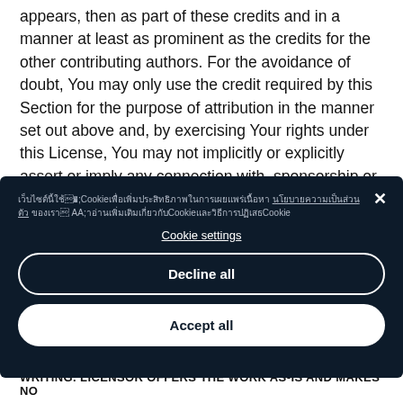appears, then as part of these credits and in a manner at least as prominent as the credits for the other contributing authors. For the avoidance of doubt, You may only use the credit required by this Section for the purpose of attribution in the manner set out above and, by exercising Your rights under this License, You may not implicitly or explicitly assert or imply any connection with, sponsorship or endorsement by the Original Author, Licensor and/or Attribution Parties, as appropriate, of You
[Figure (screenshot): Cookie consent modal dialog with dark background (#0d1b2a), showing Thai-language cookie notice text, a close (X) button, a 'Cookie settings' underlined link, a 'Decline all' button with white border, and an 'Accept all' button with white background.]
WRITING. LICENSOR OFFERS THE WORK AS-IS AND MAKES NO